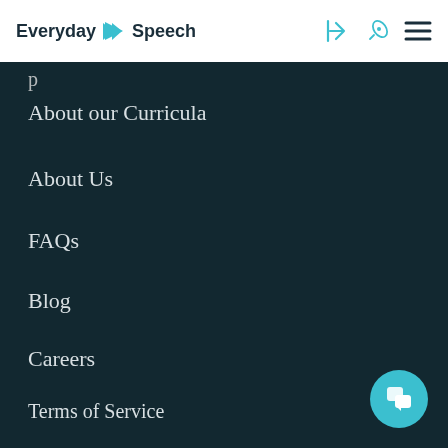Everyday Speech
About our Curricula
About Us
FAQs
Blog
Careers
Terms of Service
Privacy Policy